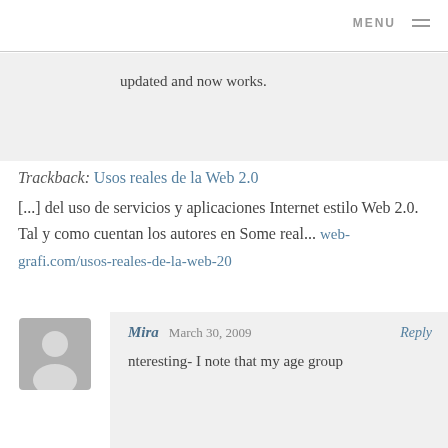MENU
updated and now works.
Trackback: Usos reales de la Web 2.0
[...] del uso de servicios y aplicaciones Internet estilo Web 2.0. Tal y como cuentan los autores en Some real... web-grafi.com/usos-reales-de-la-web-20
Mira  March 30, 2009  Reply
nteresting- I note that my age group